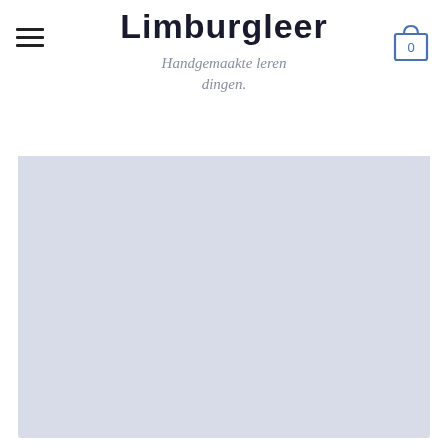Limburgleer
Handgemaakte leren dingen.
[Figure (photo): Large light blue-grey hero image placeholder area below the site header]